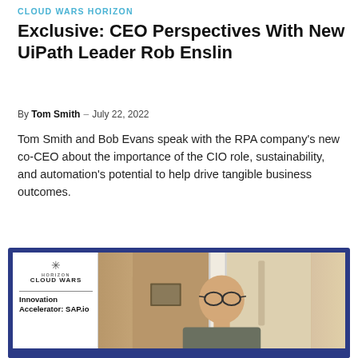CLOUD WARS HORIZON
Exclusive: CEO Perspectives With New UiPath Leader Rob Enslin
By Tom Smith – July 22, 2022
Tom Smith and Bob Evans speak with the RPA company's new co-CEO about the importance of the CIO role, sustainability, and automation's potential to help drive tangible business outcomes.
[Figure (screenshot): Video thumbnail showing a bald man with glasses on a video call, with a Cloud Wars Innovation Accelerator: SAP.io sidebar panel on the left]